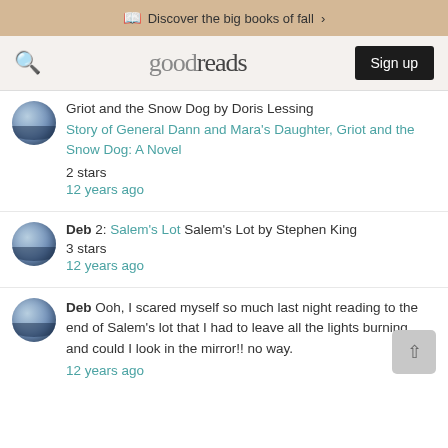Discover the big books of fall >
[Figure (logo): Goodreads logo with search icon and Sign up button]
Griot and the Snow Dog by Doris Lessing
Story of General Dann and Mara's Daughter, Griot and the Snow Dog: A Novel
2 stars
12 years ago
Deb 2: Salem's Lot Salem's Lot by Stephen King
3 stars
12 years ago
Deb Ooh, I scared myself so much last night reading to the end of Salem's lot that I had to leave all the lights burning... and could I look in the mirror!! no way.
12 years ago